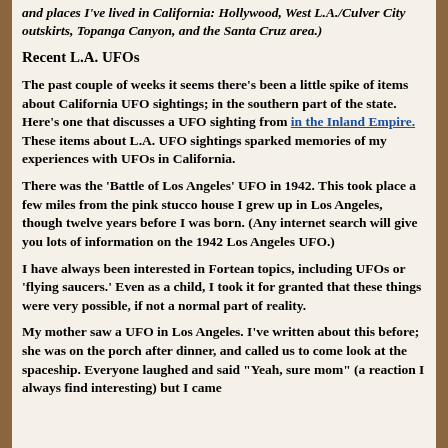and places I've lived in California: Hollywood, West L.A./Culver City outskirts, Topanga Canyon, and the Santa Cruz area.)
Recent L.A. UFOs
The past couple of weeks it seems there's been a little spike of items about California UFO sightings; in the southern part of the state. Here's one that discusses a UFO sighting from in the Inland Empire. These items about L.A. UFO sightings sparked memories of my experiences with UFOs in California.
There was the 'Battle of Los Angeles' UFO in 1942. This took place a few miles from the pink stucco house I grew up in Los Angeles, though twelve years before I was born. (Any internet search will give you lots of information on the 1942 Los Angeles UFO.)
I have always been interested in Fortean topics, including UFOs or 'flying saucers.' Even as a child, I took it for granted that these things were very possible, if not a normal part of reality.
My mother saw a UFO in Los Angeles. I've written about this before; she was on the porch after dinner, and called us to come look at the spaceship. Everyone laughed and said "Yeah, sure mom" (a reaction I always find interesting) but I came